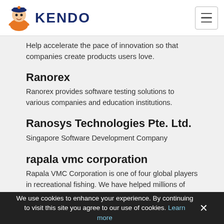KENDO
Help accelerate the pace of innovation so that companies create products users love.
Ranorex
Ranorex provides software testing solutions to various companies and education institutions.
Ranosys Technologies Pte. Ltd.
Singapore Software Development Company
rapala vmc corporation
Rapala VMC Corporation is one of four global players in recreational fishing. We have helped millions of fishermen to catch more fish.
Ranpak
Ranpak is one of the worldGÇÖs largest producers of in-the-box protective packaging solutions.
We use cookies to enhance your experience. By continuing to visit this site you agree to our use of cookies. Learn more